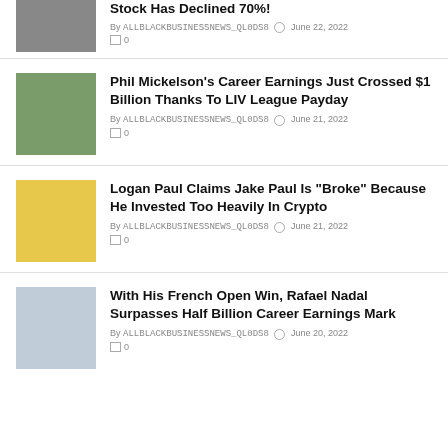Stock Has Declined 70%!
By ALLBLACKBUSINESSNEWS_QL0DS8 ⏱ June 22, 2022 □ 0
Phil Mickelson’s Career Earnings Just Crossed $1 Billion Thanks To LIV League Payday
By ALLBLACKBUSINESSNEWS_QL0DS8 ⏱ June 21, 2022 □ 0
Logan Paul Claims Jake Paul Is “Broke” Because He Invested Too Heavily In Crypto
By ALLBLACKBUSINESSNEWS_QL0DS8 ⏱ June 21, 2022 □ 0
With His French Open Win, Rafael Nadal Surpasses Half Billion Career Earnings Mark
By ALLBLACKBUSINESSNEWS_QL0DS8 ⏱ June 20, 2022 □ 0